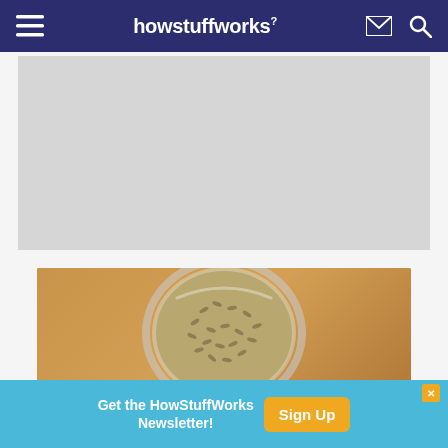howstuffworks
[Figure (other): Gray advertisement placeholder box]
[Figure (photo): Top-down view of a glass jar filled with dried herbs (anise or fennel seeds) on a warm tan/brown surface]
Get the HowStuffWorks Newsletter! Sign Up